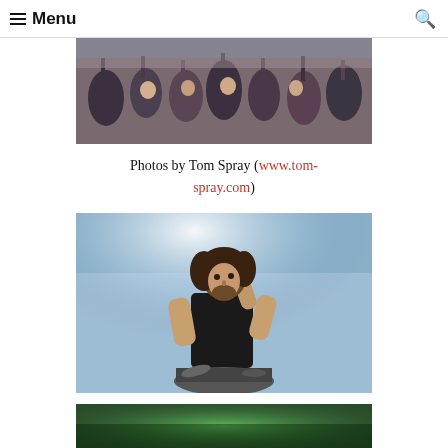☰ Menu
[Figure (photo): Concert crowd photo showing excited audience members with hands raised]
Photos by Tom Spray (www.tom-spray.com)
[Figure (photo): Concert performer on stage with hazy atmospheric lighting, male musician with long curly hair wearing black sleeveless shirt]
[Figure (photo): Another concert photo partially visible at bottom of page]